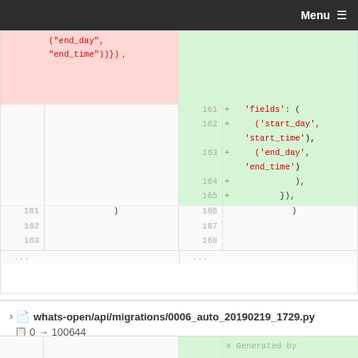Menu
[Figure (screenshot): Code diff view showing changes to a Django migration file. Left side (deleted, pink) shows removal of ('end_day', 'end_time')}) lines. Right side (added, green) shows lines 161-165 with 'fields': (('start_day', 'start_time'), ('end_day', 'end_time'), ), }), added. Below are shared context lines 161-168 and ellipsis.]
whats-open/api/migrations/0006_auto_20190219_1729.py  0 → 100644
# Generated by